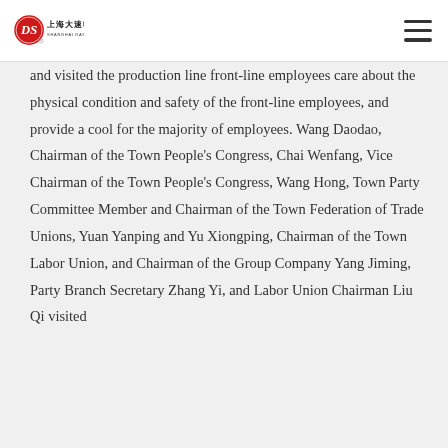上海大速电机 SHANGHAI DASU MOTOR
and visited the production line front-line employees care about the physical condition and safety of the front-line employees, and provide a cool for the majority of employees. Wang Daodao, Chairman of the Town People's Congress, Chai Wenfang, Vice Chairman of the Town People's Congress, Wang Hong, Town Party Committee Member and Chairman of the Town Federation of Trade Unions, Yuan Yanping and Yu Xiongping, Chairman of the Town Labor Union, and Chairman of the Group Company Yang Jiming, Party Branch Secretary Zhang Yi, and Labor Union Chairman Liu Qi visited